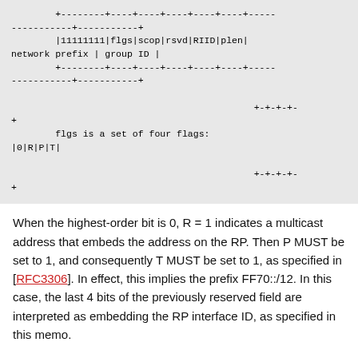[Figure (schematic): ASCII diagram showing IPv6 multicast address format with fields: 11111111, flgs, scop, rsvd, RIID, plen, network prefix, group ID. Below that, flgs field breakdown showing |0|R|P|T| with +-+-+-+- delimiters.]
When the highest-order bit is 0, R = 1 indicates a multicast address that embeds the address on the RP. Then P MUST be set to 1, and consequently T MUST be set to 1, as specified in [RFC3306]. In effect, this implies the prefix FF70::/12. In this case, the last 4 bits of the previously reserved field are interpreted as embedding the RP interface ID, as specified in this memo.